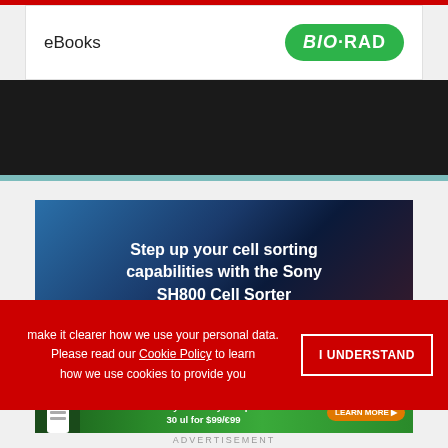eBooks
[Figure (logo): Bio-Rad logo — white bold text on green rounded rectangle]
[Figure (illustration): Advertisement: Step up your cell sorting capabilities with the Sony SH800 Cell Sorter — white bold text over dark blue/teal microscopy background]
make it clearer how we use your personal data. Please read our Cookie Policy to learn how we use cookies to provide you
I UNDERSTAND
[Figure (illustration): OriGene Special Offer advertisement: Primary Antibody Samples 30 ul for $99/€99 — green background with scientist figure and Learn More button]
ADVERTISEMENT